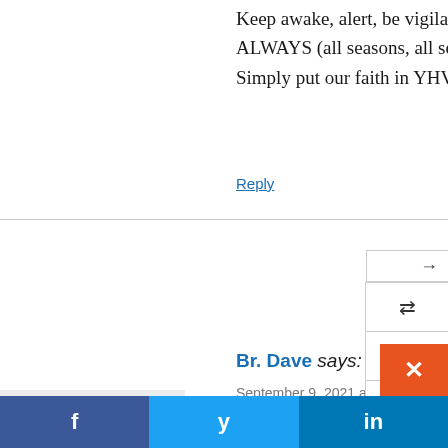Keep awake, alert, be vigilant and watch, and pray (beg ALWAYS (all seasons, all seasons).
Simply put our faith in YHVH and keep ourselves in H
Reply
Br. Dave says:
September 9, 2021 at 3:37 am
9/9/2021
Before studying Joh_5:24-29, let's study anothe directly about salvation, says a great deal about saved:
Psa_103:1-19
with particular emphasis on Psa_103:14